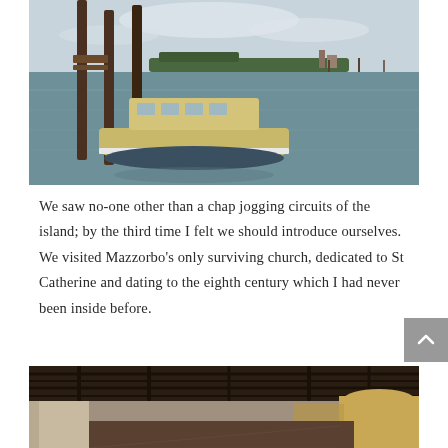[Figure (photo): A wooden motorboat docked at wooden pilings in a Venetian lagoon. The water is calm and grey-green. In the background, a distant island with trees and buildings is visible under an overcast sky.]
We saw no-one other than a chap jogging circuits of the island; by the third time I felt we should introduce ourselves. We visited Mazzorbo's only surviving church, dedicated to St Catherine and dating to the eighth century which I had never been inside before.
[Figure (photo): Interior view of a historic church showing a dark wooden beam ceiling, rough plastered walls, and arched doorways with warm golden light beyond. The space appears ancient and austere.]